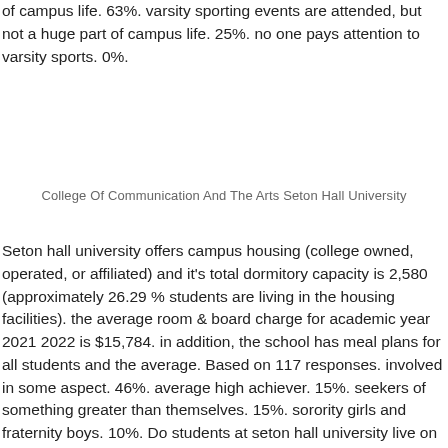of campus life. 63%. varsity sporting events are attended, but not a huge part of campus life. 25%. no one pays attention to varsity sports. 0%.
College Of Communication And The Arts Seton Hall University
Seton hall university offers campus housing (college owned, operated, or affiliated) and it's total dormitory capacity is 2,580 (approximately 26.29 % students are living in the housing facilities). the average room & board charge for academic year 2021 2022 is $15,784. in addition, the school has meal plans for all students and the average. Based on 117 responses. involved in some aspect. 46%. average high achiever. 15%. seekers of something greater than themselves. 15%. sorority girls and fraternity boys. 10%. Do students at seton hall university live on or off campus? is greek life a big part of student life? what are the campus surroundings like? find out